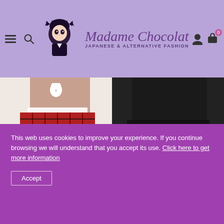[Figure (screenshot): Madame Chocolat website header with purple/lavender background, anime-style girl logo illustration, site name 'Madame Chocolat' in script font, tagline 'JAPANESE & ALTERNATIVE FASHION', hamburger menu, search icon, account icon, and cart icon with badge '0']
[Figure (photo): Left product photo: Punk Frilly Bunny Skirt in Red Tartan with white lace trim, model wearing black strappy heels]
[Figure (photo): Right product photo: Frill Punk Plaid Skirt Black x Red - Dark in Love, asymmetric jagged hem with black lace over red plaid]
Punk Frilly Bunny Skirt Red Tartan - Darkint... €49.95
Frill Punk Plaid Skirt Black x Red - Dark in Love €48.95
This web uses cookies to improve your experience. If you continue browsing we will understand that you accept its use. Click here to get more information
Accept